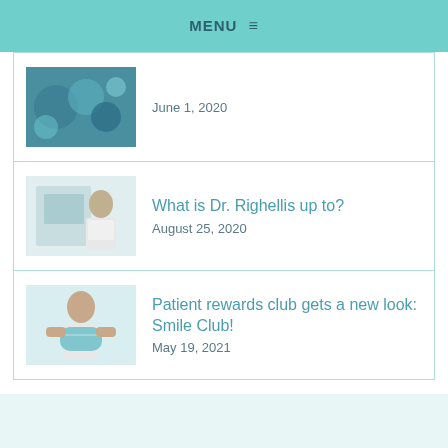MENU ≡
June 1, 2020
What is Dr. Righellis up to?
August 25, 2020
Patient rewards club gets a new look: Smile Club!
May 19, 2021
ADULT